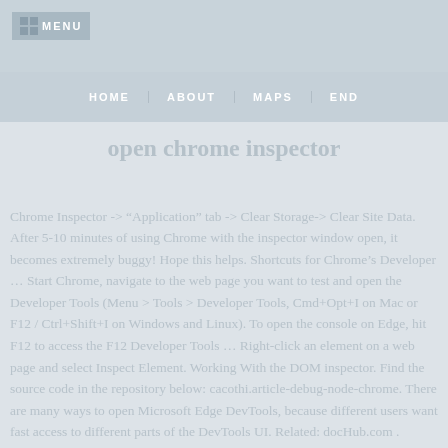MENU
HOME   ABOUT   MAPS   END
open chrome inspector
Chrome Inspector -> "Application" tab -> Clear Storage-> Clear Site Data. After 5-10 minutes of using Chrome with the inspector window open, it becomes extremely buggy! Hope this helps. Shortcuts for Chrome's Developer ... Start Chrome, navigate to the web page you want to test and open the Developer Tools (Menu > Tools > Developer Tools, Cmd+Opt+I on Mac or F12 / Ctrl+Shift+I on Windows and Linux). To open the console on Edge, hit F12 to access the F12 Developer Tools ... Right-click an element on a web page and select Inspect Element. Working With the DOM inspector. Find the source code in the repository below: cacothi.article-debug-node-chrome. There are many ways to open Microsoft Edge DevTools, because different users want fast access to different parts of the DevTools UI. Related: docHub.com . Hovering over items in the elements tab of the inspector window no longer highlights those items blue on the page. In this video we will be taking an intermediary look at the console Developer ...